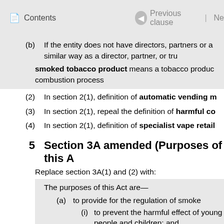Contents | Previous clause | Ne
(b) If the entity does not have directors, partners or a similar way as a director, partner, or tru
smoked tobacco product means a tobacco product combustion process
(2) In section 2(1), definition of automatic vending m
(3) In section 2(1), repeal the definition of harmful co
(4) In section 2(1), definition of specialist vape retail
5 Section 3A amended (Purposes of this A
Replace section 3A(1) and (2) with:
The purposes of this Act are—
(a) to provide for the regulation of smoke
(i) to prevent the harmful effect of young people and children; and
(ii) to significantly reduce the retai
(iii) to prevent young people, and s
(iv) to reduce the appeal and addict